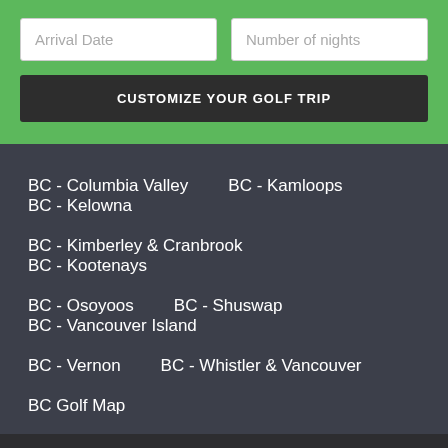Arrival Date
Number of nights
CUSTOMIZE YOUR GOLF TRIP
BC - Columbia Valley
BC - Kamloops
BC - Kelowna
BC - Kimberley & Cranbrook
BC - Kootenays
BC - Osoyoos
BC - Shuswap
BC - Vancouver Island
BC - Vernon
BC - Whistler & Vancouver
BC Golf Map